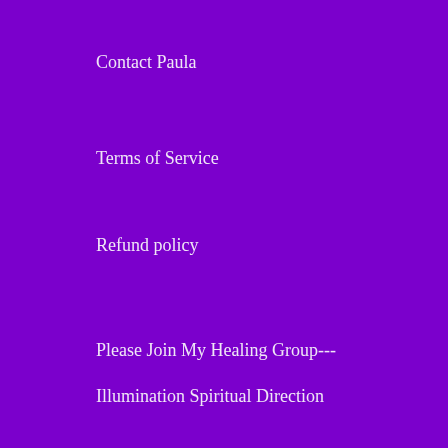Contact Paula
Terms of Service
Refund policy
Please Join My Healing Group---
Illumination Spiritual Direction
For My Local Visitors
I do not have a physical storefront, however, everything you see on this site is available for purchase locally if you'd like to come by for a visit at my private office/apothecary!